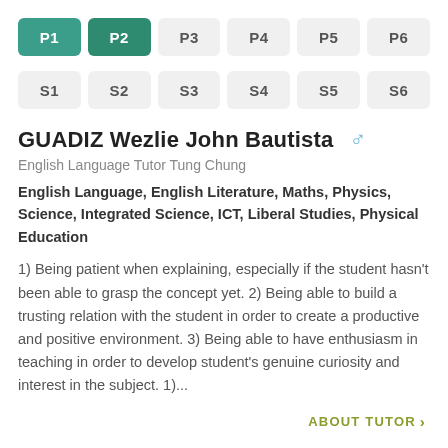| P1 | P2 | P3 | P4 | P5 | P6 |
| --- | --- | --- | --- | --- | --- |
| S1 | S2 | S3 | S4 | S5 | S6 |
GUADIZ Wezlie John Bautista
English Language Tutor Tung Chung
English Language, English Literature, Maths, Physics, Science, Integrated Science, ICT, Liberal Studies, Physical Education
1) Being patient when explaining, especially if the student hasn't been able to grasp the concept yet. 2) Being able to build a trusting relation with the student in order to create a productive and positive environment. 3) Being able to have enthusiasm in teaching in order to develop student's genuine curiosity and interest in the subject. 1)...
ABOUT TUTOR >